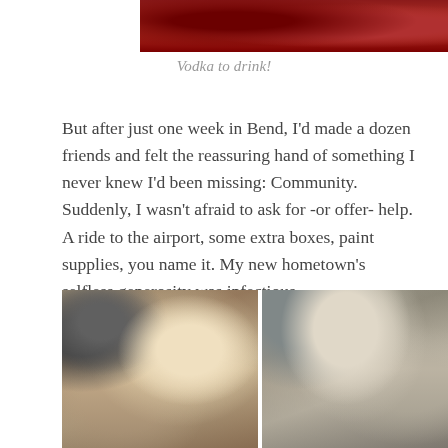[Figure (photo): Top portion of a photo showing a red/dark patterned background, partially cropped at the top of the page]
Vodka to drink!
But after just one week in Bend, I'd made a dozen friends and felt the reassuring hand of something I never knew I'd been missing: Community. Suddenly, I wasn't afraid to ask for -or offer- help. A ride to the airport, some extra boxes, paint supplies, you name it. My new hometown's selfless generosity was infectious.
[Figure (photo): Two side-by-side photos: left photo shows a blonde woman with hair in a bun working on a craft project; right photo shows a grey-haired man in a black apron looking down at his work]